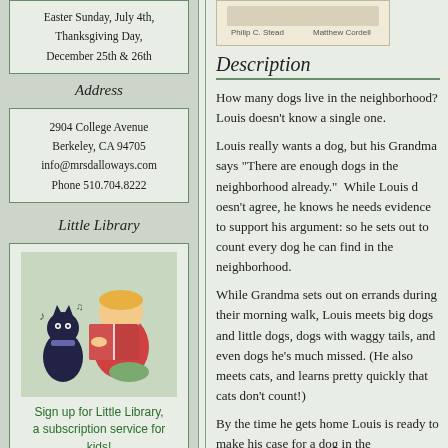Easter Sunday, July 4th, Thanksgiving Day, December 25th & 26th
Address
2904 College Avenue
Berkeley, CA 94705
info@mrsdalloways.com
Phone 510.704.8222
Little Library
[Figure (illustration): Illustration of a child reading a book with a cat dressed in a coat nearby]
Sign up for Little Library, a subscription service for kids!
Affiliates
[Figure (photo): Book cover thumbnail with author names Philip C. Stead and Matthew Cordell]
Description
How many dogs live in the neighborhood? Louis doesn't know a single one.
Louis really wants a dog, but his Grandma says "There are enough dogs in the neighborhood already." While Louis doesn't agree, he knows he needs evidence to support his argument: so he sets out to count every dog he can find in the neighborhood.
While Grandma sets out on errands during their morning walk, Louis meets big dogs and little dogs, dogs with waggy tails, and even dogs he's much missed. (He also meets cats, and learns pretty quickly that cats don't count!)
By the time he gets home Louis is ready to make his case for a dog in the neighborhood. . . .  But Grandma has returned with a surprise — a particularly loveable dog.  A dog who needs a loving home.
Maybe there are enough dogs in the neighborhood after all.
Philip Stead and Caldecott Medalist Matthew Cordell's latest is an offbeat tale about a loving grandparent, in the tradition of A Sick Day for Frog and Special Delivery. Perfect for